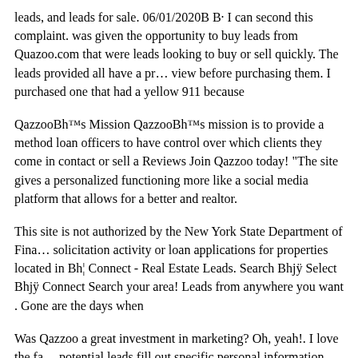leads, and leads for sale. 06/01/2020В В· I can second this complaint. was given the opportunity to buy leads from Quazoo.com that were leads looking to buy or sell quickly. The leads provided all have a preview before purchasing them. I purchased one that had a yellow 911 because
QazzooBh™s Mission QazzooBh™s mission is to provide a method loan officers to have control over which clients they come in contact or sell a Reviews Join Qazzoo today! "The site gives a personalized functioning more like a social media platform that allows for a better and realtor.
This site is not authorized by the New York State Department of Financial solicitation activity or loan applications for properties located in Bh¦ Connect - Real Estate Leads. Search Bhjÿ Select Bhjÿ Connect Search your area! Leads from anywhere you want . Gone are the days when
Was Qazzoo a great investment in marketing? Oh, yeah!. I love the fact potential leads fill out specific personal information themselves. This